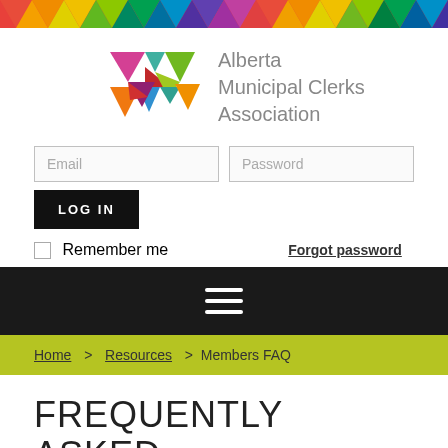[Figure (illustration): Rainbow triangle pattern banner across the top of the page]
[Figure (logo): Alberta Municipal Clerks Association logo with geometric colorful triangles and text]
Email
Password
LOG IN
Remember me
Forgot password
[Figure (illustration): Hamburger menu icon (three horizontal lines) on dark background navigation bar]
Home > Resources > Members FAQ
FREQUENTLY ASKED